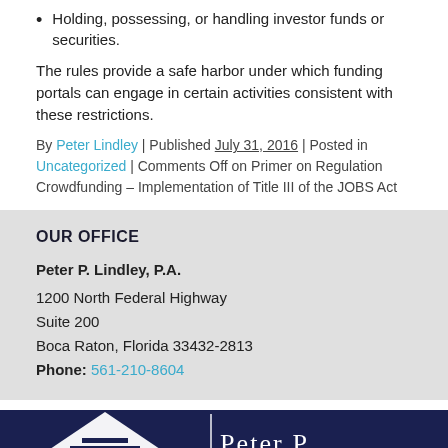Holding, possessing, or handling investor funds or securities.
The rules provide a safe harbor under which funding portals can engage in certain activities consistent with these restrictions.
By Peter Lindley | Published July 31, 2016 | Posted in Uncategorized | Comments Off on Primer on Regulation Crowdfunding – Implementation of Title III of the JOBS Act
OUR OFFICE
Peter P. Lindley, P.A.
1200 North Federal Highway
Suite 200
Boca Raton, Florida 33432-2813
Phone: 561-210-8604
[Figure (logo): Peter P. Lindley law firm logo with white triangle/building icon and firm name on dark navy background]